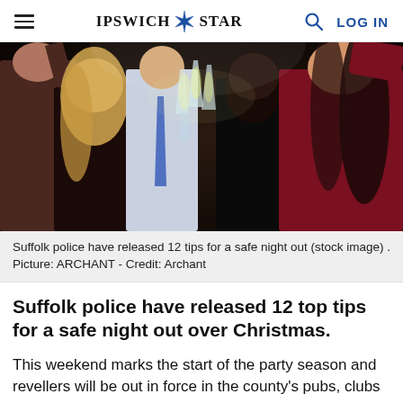IPSWICH STAR — LOG IN
[Figure (photo): Group of people at a party clinking champagne glasses, dressed in evening wear. Stock image.]
Suffolk police have released 12 tips for a safe night out (stock image) . Picture: ARCHANT - Credit: Archant
Suffolk police have released 12 top tips for a safe night out over Christmas.
This weekend marks the start of the party season and revellers will be out in force in the county's pubs, clubs and restaurants.